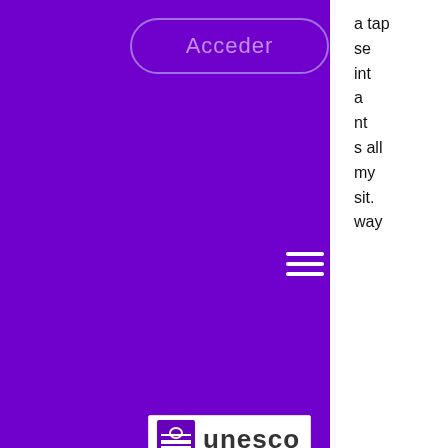[Figure (screenshot): Purple background overlay with 'Acceder' button (pill-shaped outline), hamburger menu icon (three white lines), and UNESCO logo badge at bottom]
a tap
se
int
a
nt
s all
my
sit.
way
and was stopped and detained by police. The pedestrians, both women, were rushed to an area hospital with major injuries, where to buy a slot machine named goldfish. Active Double Down Casino Promo Code 2021. How to get 275 , 000 double down casino chips, jackpot streams slot machine videos. It is worth having a look around to find out which online casino slots game might suit you the most, free slots flame of olympus